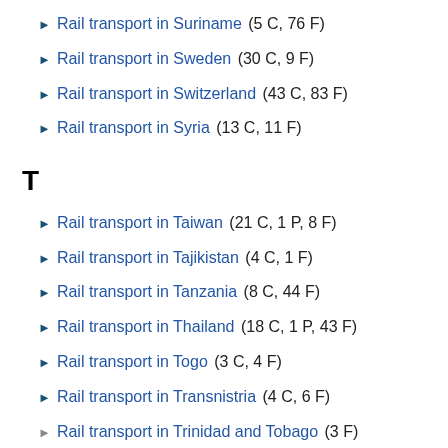► Rail transport in Suriname (5 C, 76 F)
► Rail transport in Sweden (30 C, 9 F)
► Rail transport in Switzerland (43 C, 83 F)
► Rail transport in Syria (13 C, 11 F)
T
► Rail transport in Taiwan (21 C, 1 P, 8 F)
► Rail transport in Tajikistan (4 C, 1 F)
► Rail transport in Tanzania (8 C, 44 F)
► Rail transport in Thailand (18 C, 1 P, 43 F)
► Rail transport in Togo (3 C, 4 F)
► Rail transport in Transnistria (4 C, 6 F)
▶ Rail transport in Trinidad and Tobago (3 F)